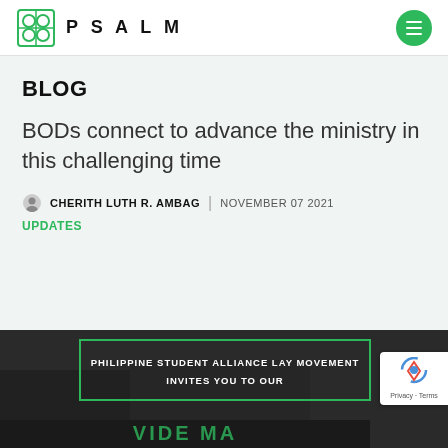PSALM
BLOG
BODs connect to advance the ministry in this challenging time
CHERITH LUTH R. AMBAG | NOVEMBER 07 2021
UPDATES
[Figure (photo): Dark background image with green-bordered overlay text reading 'PHILIPPINE STUDENT ALLIANCE LAY MOVEMENT INVITES YOU TO OUR']